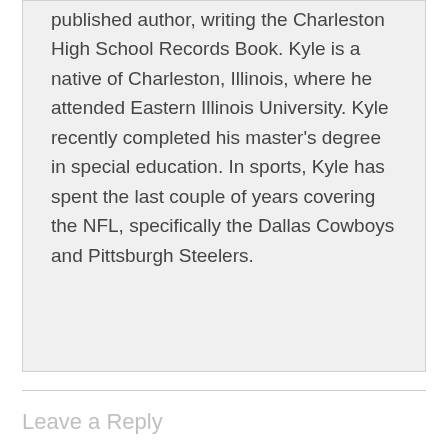published author, writing the Charleston High School Records Book. Kyle is a native of Charleston, Illinois, where he attended Eastern Illinois University. Kyle recently completed his master's degree in special education. In sports, Kyle has spent the last couple of years covering the NFL, specifically the Dallas Cowboys and Pittsburgh Steelers.
Leave a Reply